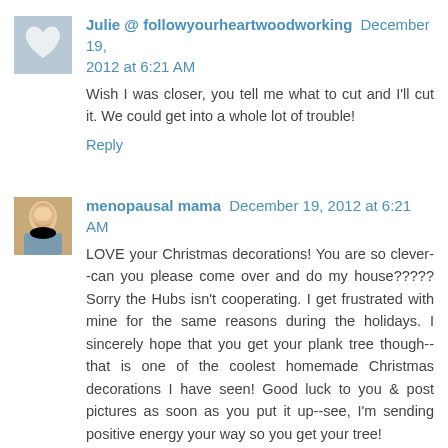Julie @ followyourheartwoodworking December 19, 2012 at 6:21 AM
Wish I was closer, you tell me what to cut and I'll cut it. We could get into a whole lot of trouble!
Reply
menopausal mama December 19, 2012 at 6:21 AM
LOVE your Christmas decorations! You are so clever--can you please come over and do my house????? Sorry the Hubs isn't cooperating. I get frustrated with mine for the same reasons during the holidays. I sincerely hope that you get your plank tree though--that is one of the coolest homemade Christmas decorations I have seen! Good luck to you & post pictures as soon as you put it up--see, I'm sending positive energy your way so you get your tree!
Reply